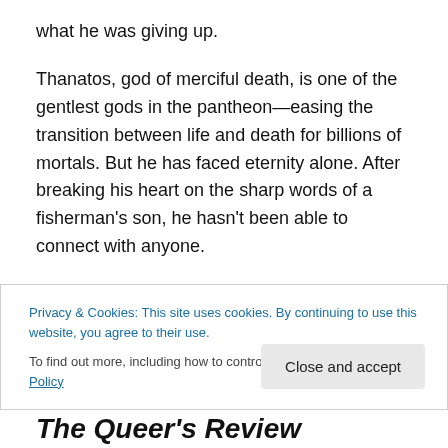what he was giving up.
Thanatos, god of merciful death, is one of the gentlest gods in the pantheon—easing the transition between life and death for billions of mortals. But he has faced eternity alone. After breaking his heart on the sharp words of a fisherman's son, he hasn't been able to connect with anyone.
Now, Lach is crashing back into Thanatos's life, dragging him into an adventure that could save the world . . . or kill them both
Privacy & Cookies: This site uses cookies. By continuing to use this website, you agree to their use.
To find out more, including how to control cookies, see here: Cookie Policy
Close and accept
The Queer's Review